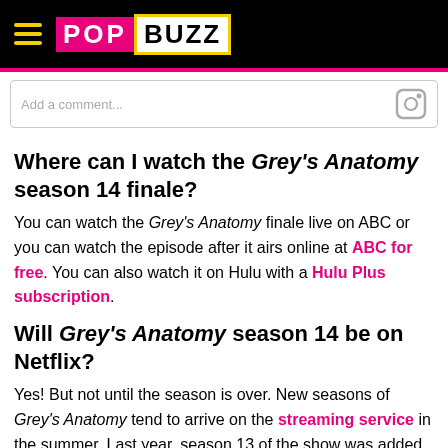POPBUZZ
Add a comment...
Where can I watch the Grey's Anatomy season 14 finale?
You can watch the Grey's Anatomy finale live on ABC or you can watch the episode after it airs online at ABC for free. You can also watch it on Hulu with a Hulu Plus subscription.
Will Grey's Anatomy season 14 be on Netflix?
Yes! But not until the season is over. New seasons of Grey's Anatomy tend to arrive on the streaming service in the summer. Last year, season 13 of the show was added on June 17th. You can probably expect a similar date for season 14.